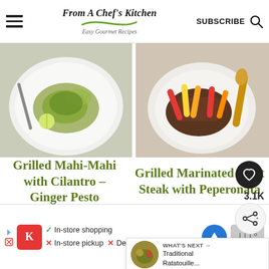From A Chef's Kitchen — Easy Gourmet Recipes | SUBSCRIBE
[Figure (photo): Top-down view of a white plate with grilled fish topped with cilantro-ginger pesto, lime wedge, and microgreens on a light surface]
[Figure (photo): Top-down view of a white bowl with grilled marinated skirt steak and colorful peperonata (sautéed peppers) on a light surface]
Grilled Mahi-Mahi with Cilantro – Ginger Pesto
Grilled Marinated Skirt Steak with Peperonata
[Figure (infographic): What's Next widget showing Traditional Ratatouille thumbnail with text 'WHAT'S NEXT → Traditional Ratatouille...']
[Figure (infographic): Advertisement bar: Kroger ad showing checkmark In-store shopping, X In-store pickup, X Delivery with navigation icon]